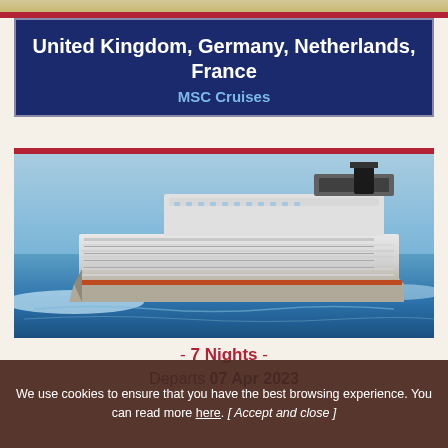United Kingdom, Germany, Netherlands, France
MSC Cruises
[Figure (photo): MSC cruise ship sailing on blue ocean water, aerial/side view, large white multi-deck cruise liner with MSC branding]
- 7 Nights -
Departs 07 Apr 2023
We use cookies to ensure that you have the best browsing experience. You can read more here. [ Accept and close ]